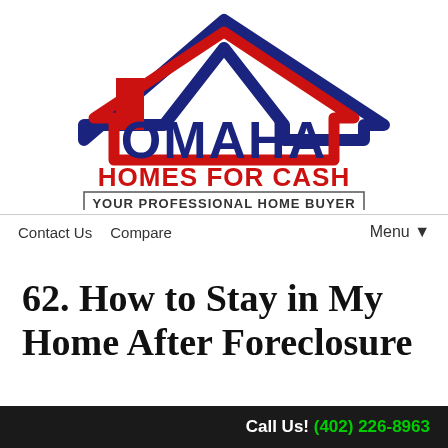[Figure (logo): Omaha Homes For Cash logo with house icon in red and navy blue, tagline 'YOUR PROFESSIONAL HOME BUYER']
Contact Us   Compare   Menu ▼
62. How to Stay in My Home After Foreclosure
Call Us! (402) 226-8963